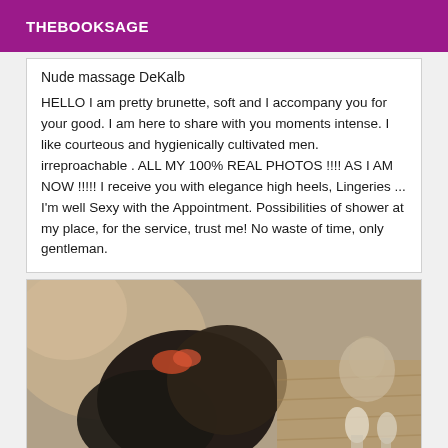THEBOOKSAGE
Nude massage DeKalb
HELLO I am pretty brunette, soft and I accompany you for your good. I am here to share with you moments intense. I like courteous and hygienically cultivated men. irreproachable . ALL MY 100% REAL PHOTOS !!!! AS I AM NOW !!!!! I receive you with elegance high heels, Lingeries ... I'm well Sexy with the Appointment. Possibilities of shower at my place, for the service, trust me! No waste of time, only gentleman.
[Figure (photo): A blurred close-up photo showing a person with dark hair, partial body view, with a mirror or reflective surface visible in the background showing a face reflection.]